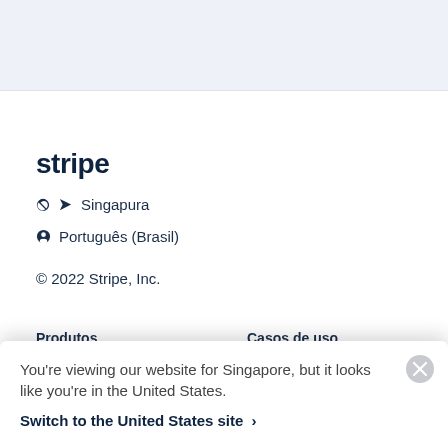[Figure (logo): Stripe logo in dark navy bold font]
Singapura
Português (Brasil)
© 2022 Stripe, Inc.
Produtos
Casos de uso
You're viewing our website for Singapore, but it looks like you're in the United States.
Switch to the United States site ›
Checkout
Finanças integradas